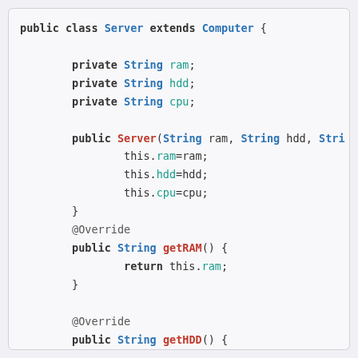[Figure (screenshot): Java source code snippet showing a Server class that extends Computer, with private String fields (ram, hdd, cpu), a constructor, getRAM() method, and getHDD() method with syntax highlighting.]